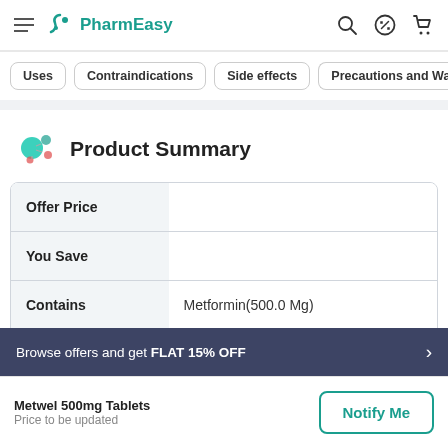PharmEasy
Uses
Contraindications
Side effects
Precautions and Warni...
Product Summary
|  |  |
| --- | --- |
| Offer Price |  |
| You Save |  |
| Contains | Metformin(500.0 Mg) |
| Therapy | ANTI DIABETIC |
Browse offers and get FLAT 15% OFF
Metwel 500mg Tablets
Price to be updated
Notify Me